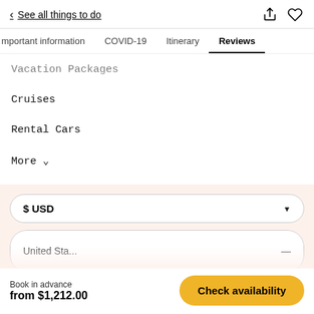< See all things to do
Important information  COVID-19  Itinerary  Reviews
Vacation Packages
Cruises
Rental Cars
More ∨
$ USD
United Sta...
Book in advance
from $1,212.00
Check availability